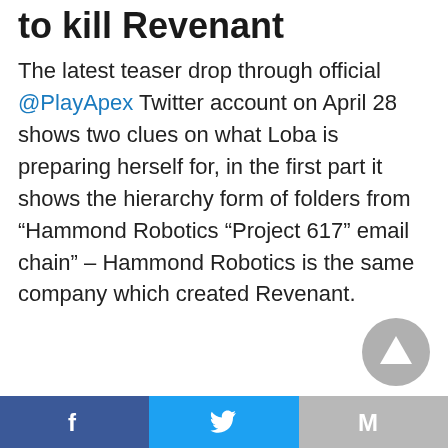to kill Revenant
The latest teaser drop through official @PlayApex Twitter account on April 28 shows two clues on what Loba is preparing herself for, in the first part it shows the hierarchy form of folders from “Hammond Robotics “Project 617” email chain” – Hammond Robotics is the same company which created Revenant.
Facebook | Twitter | Gmail